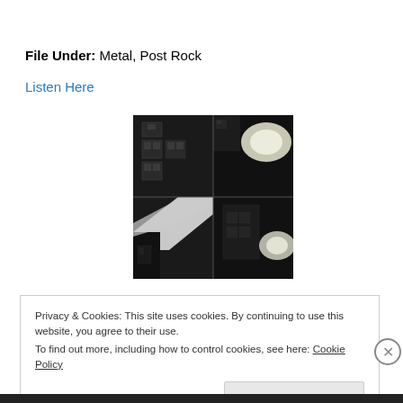File Under: Metal, Post Rock
Listen Here
[Figure (photo): Black and white album art showing a building facade with windows and bright light sources, appearing as a 2x2 grid collage of the same or similar image]
Privacy & Cookies: This site uses cookies. By continuing to use this website, you agree to their use.
To find out more, including how to control cookies, see here: Cookie Policy
Close and accept